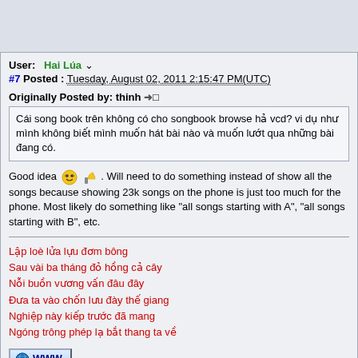User: Hai Lúa
#7 Posted : Tuesday, August 02, 2011 2:15:47 PM(UTC)
Originally Posted by: thinh
Cái song book trên không có cho songbook browse hả vcd? vi dụ như mình không biết mình muốn hát bài nào và muốn lướt qua những bài đang có.
Good idea . Will need to do something instead of show all the songs because showing 23k songs on the phone is just too much for the phone. Most likely do something like "all songs starting with A", "all songs starting with B", etc.
Lập loè lửa lựu đơm bông
Sau vài ba tháng đỏ hồng cả cây
Nỗi buồn vương vấn đâu đây
Đưa ta vào chốn lưu đày thế giang
Nghiệp này kiếp trước đã mang
Ngóng trông phép lạ bắt thang ta về
WWW
User: Hai Lúa
#8 Posted : Tuesday, August 02, 2011 11:27:37 PM(UTC)
Originally Posted by: tUyET dEn